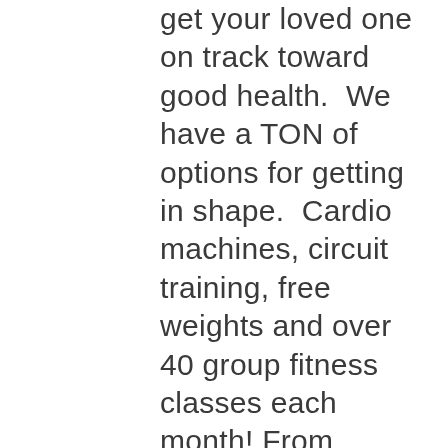get your loved one on track toward good health.  We have a TON of options for getting in shape.  Cardio machines, circuit training, free weights and over 40 group fitness classes each month! From Cycle to Yoga to Zumba to Forever Fit (our class for seniors) there is something for everyone.